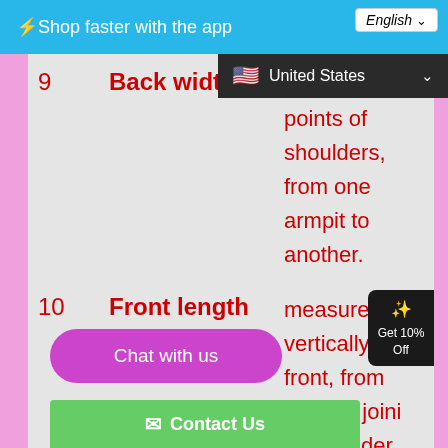⚡Shop faster with the app
| # | Measurement | Description |
| --- | --- | --- |
| 9 | Back width | protruding points of shoulders, from one armpit to another. |
| 10 | Front length | measured vertically, in front, from point of joining of shoulder... |